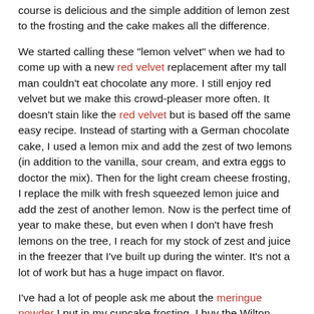course is delicious and the simple addition of lemon zest to the frosting and the cake makes all the difference.
We started calling these "lemon velvet" when we had to come up with a new red velvet replacement after my tall man couldn't eat chocolate any more. I still enjoy red velvet but we make this crowd-pleaser more often. It doesn't stain like the red velvet but is based off the same easy recipe. Instead of starting with a German chocolate cake, I used a lemon mix and add the zest of two lemons (in addition to the vanilla, sour cream, and extra eggs to doctor the mix). Then for the light cream cheese frosting, I replace the milk with fresh squeezed lemon juice and add the zest of another lemon. Now is the perfect time of year to make these, but even when I don't have fresh lemons on the tree, I reach for my stock of zest and juice in the freezer that I've built up during the winter. It's not a lot of work but has a huge impact on flavor.
I've had a lot of people ask me about the meringue powder I put in my cupcake frosting. I buy the Wilton brand- you can get it at Walmart, Michaels, or Hobby Lobby (or at Amazon of